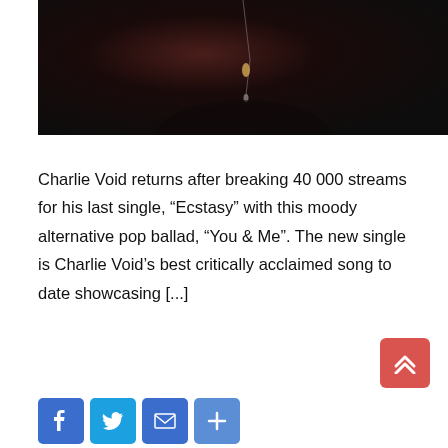[Figure (photo): Dark moody photo of a person wearing a pendant necklace against a near-black background with reddish brown tones]
Charlie Void returns after breaking 40 000 streams for his last single, “Ecstasy” with this moody alternative pop ballad, “You & Me”. The new single is Charlie Void’s best critically acclaimed song to date showcasing [...]